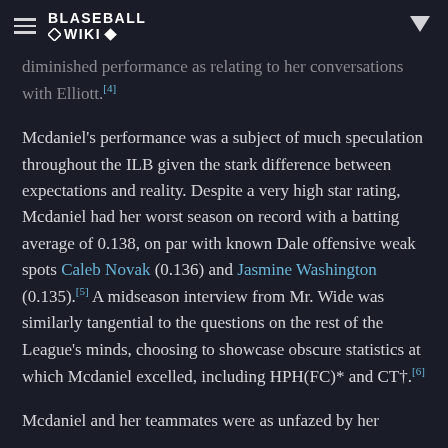BLASEBALL WIKI
diminished performance as relating to her conversations with Elliott.[4]
Mcdaniel's performance was a subject of much speculation throughout the ILB given the stark difference between expectations and reality. Despite a very high star rating, Mcdaniel had her worst season on record with a batting average of 0.138, on par with known Dale offensive weak spots Caleb Novak (0.136) and Jasmine Washington (0.135).[5] A midseason interview from Mr. Wide was similarly tangential to the questions on the rest of the League's minds, choosing to showcase obscure statistics at which Mcdaniel excelled, including HPH(FC)* and CT†.[6]
Mcdaniel and her teammates were as unfazed by her